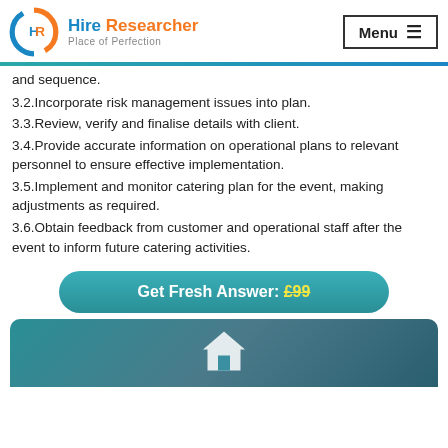[Figure (logo): Hire Researcher logo with HR circular icon in blue and orange, with tagline 'Place of Perfection']
and sequence.
3.2.Incorporate risk management issues into plan.
3.3.Review, verify and finalise details with client.
3.4.Provide accurate information on operational plans to relevant personnel to ensure effective implementation.
3.5.Implement and monitor catering plan for the event, making adjustments as required.
3.6.Obtain feedback from customer and operational staff after the event to inform future catering activities.
Get Fresh Answer: £99
[Figure (illustration): Home icon (house silhouette) on teal/dark gradient background banner]